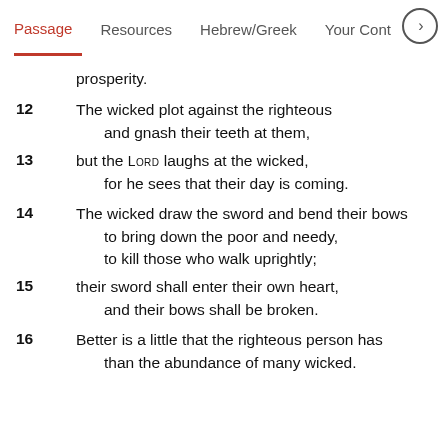Passage  Resources  Hebrew/Greek  Your Cont
prosperity.
12 The wicked plot against the righteous
    and gnash their teeth at them,
13 but the Lord laughs at the wicked,
    for he sees that their day is coming.
14 The wicked draw the sword and bend their bows
    to bring down the poor and needy,
    to kill those who walk uprightly;
15 their sword shall enter their own heart,
    and their bows shall be broken.
16 Better is a little that the righteous person has
    than the abundance of many wicked.